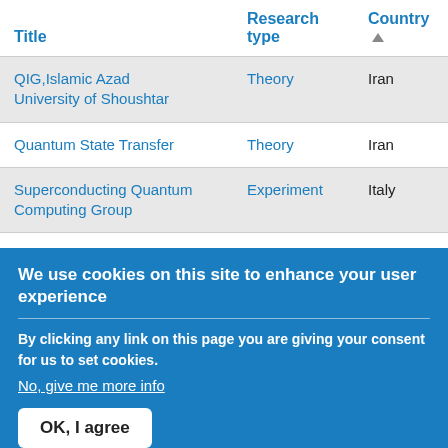| Title | Research type | Country ▲ |
| --- | --- | --- |
| QIG,Islamic Azad University of Shoushtar | Theory | Iran |
| Quantum State Transfer | Theory | Iran |
| Superconducting Quantum Computing Group | Experiment | Italy |
| Quantum Optics Research Program | Theory and Experiment | Italy |
We use cookies on this site to enhance your user experience
By clicking any link on this page you are giving your consent for us to set cookies.
No, give me more info
OK, I agree